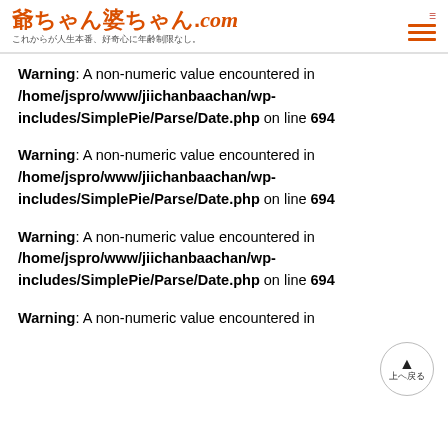爺ちゃん婆ちゃん.com これからが人生本番、好奇心に年齢制限なし。
Warning: A non-numeric value encountered in /home/jspro/www/jiichanbaachan/wp-includes/SimplePie/Parse/Date.php on line 694
Warning: A non-numeric value encountered in /home/jspro/www/jiichanbaachan/wp-includes/SimplePie/Parse/Date.php on line 694
Warning: A non-numeric value encountered in /home/jspro/www/jiichanbaachan/wp-includes/SimplePie/Parse/Date.php on line 694
Warning: A non-numeric value encountered in